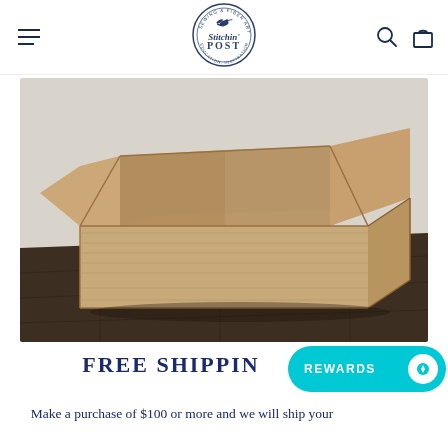[Figure (logo): Stitchin' Post logo - circular emblem with hummingbird, text 'Sewing & Fiber Arts', 'Education, Inspiration & Creativity']
[Figure (photo): Open cardboard shipping box on dark wooden floor against white wall background]
FREE SHIPPING
Make a purchase of $100 or more and we will ship your
[Figure (other): REWARDS button - teal/cyan rounded pill button with white text 'REWARDS' and circular icon]